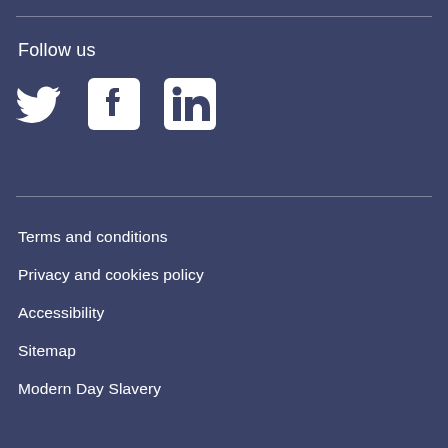Follow us
[Figure (illustration): Social media icons: Twitter bird, Facebook F logo, LinkedIn in logo]
Terms and conditions
Privacy and cookies policy
Accessibility
Sitemap
Modern Day Slavery